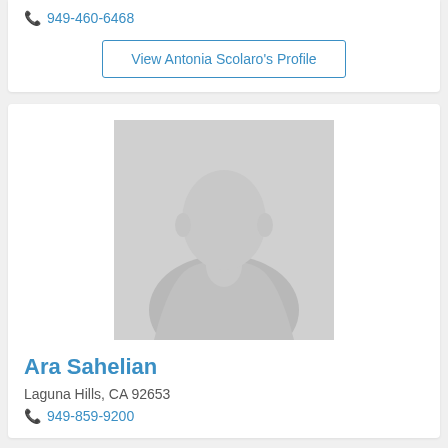📞 949-460-6468
View Antonia Scolaro's Profile
[Figure (photo): Default silhouette placeholder avatar image with gray background]
Ara Sahelian
Laguna Hills, CA 92653
📞 949-859-9200